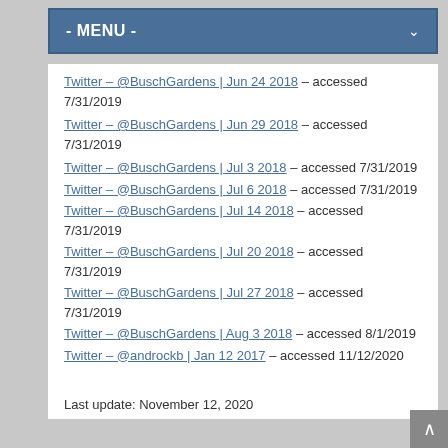- MENU -
Twitter – @BuschGardens | Jun 24 2018 – accessed 7/31/2019
Twitter – @BuschGardens | Jun 29 2018 – accessed 7/31/2019
Twitter – @BuschGardens | Jul 3 2018 – accessed 7/31/2019
Twitter – @BuschGardens | Jul 6 2018 – accessed 7/31/2019
Twitter – @BuschGardens | Jul 14 2018 – accessed 7/31/2019
Twitter – @BuschGardens | Jul 20 2018 – accessed 7/31/2019
Twitter – @BuschGardens | Jul 27 2018 – accessed 7/31/2019
Twitter – @BuschGardens | Aug 3 2018 – accessed 8/1/2019
Twitter – @androckb | Jan 12 2017 – accessed 11/12/2020
Last update: November 12, 2020